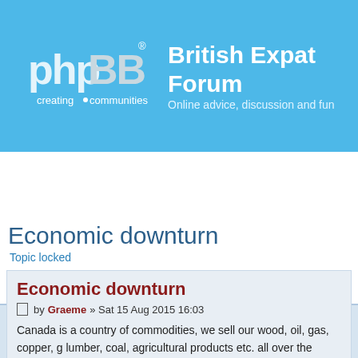[Figure (logo): phpBB logo - creating communities]
British Expat Forum
Online advice, discussion and fun
Board index ‹ Americas ‹ Canada ‹ Canada Other forums ‹ Canada - other
Economic downturn
Topic locked
Economic downturn
by Graeme » Sat 15 Aug 2015 16:03
Canada is a country of commodities, we sell our wood, oil, gas, copper, g lumber, coal, agricultural products etc. all over the world. We're here to se whatever we have to whomever will buy it. Unfortunately the downturn in Chinese economy directly inmpacts us, if they don't want to buy our comm then we stand around waiting for the next buyer. The Chinese devaluatio what we sell even more expensive for them to buy, fortunately our weak c makes our stuff slightly more attractive to the world. There are currently la the oil and gas industry due to the low oil prices, there are lay offs in the l industry as no-one wants to buy our wood, coal and gas production numb